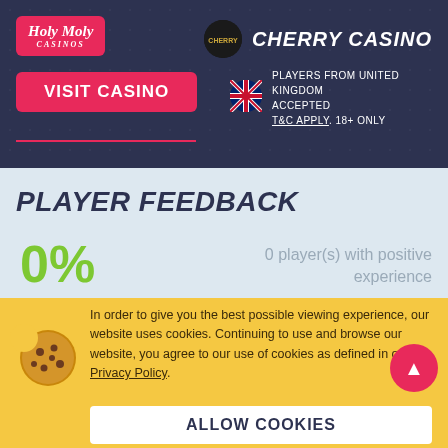[Figure (logo): Holy Moly Casinos logo - red rounded rectangle with white italic text]
CHERRY CASINO
VISIT CASINO
PLAYERS FROM UNITED KINGDOM ACCEPTED T&C APPLY. 18+ ONLY
PLAYER FEEDBACK
0%
0 player(s) with positive experience
In order to give you the best possible viewing experience, our website uses cookies. Continuing to use and browse our website, you agree to our use of cookies as defined in our Privacy Policy.
ALLOW COOKIES